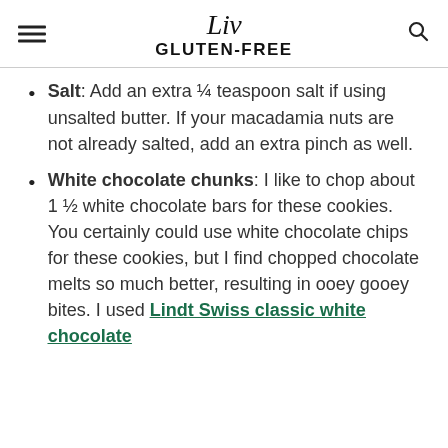Liv GLUTEN-FREE
Salt: Add an extra ¼ teaspoon salt if using unsalted butter. If your macadamia nuts are not already salted, add an extra pinch as well.
White chocolate chunks: I like to chop about 1 ½ white chocolate bars for these cookies. You certainly could use white chocolate chips for these cookies, but I find chopped chocolate melts so much better, resulting in ooey gooey bites. I used Lindt Swiss classic white chocolate